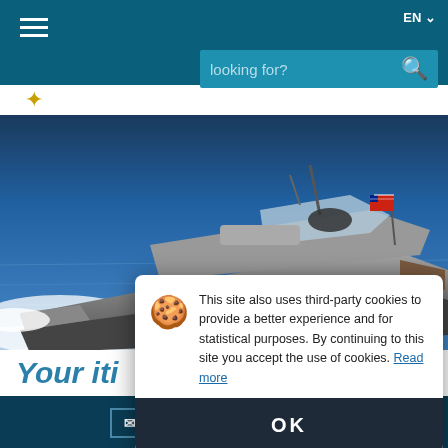[Figure (screenshot): Website navigation bar with hamburger menu, search box showing 'looking for?', and EN language selector on teal/dark blue background]
[Figure (photo): A sleek silver/grey luxury motor yacht speeding through blue ocean water with white wake, flying a red flag at stern]
Your iti
This site also uses third-party cookies to provide a better experience and for statistical purposes. By continuing to this site you accept the use of cookies. Read more
OK
EMA